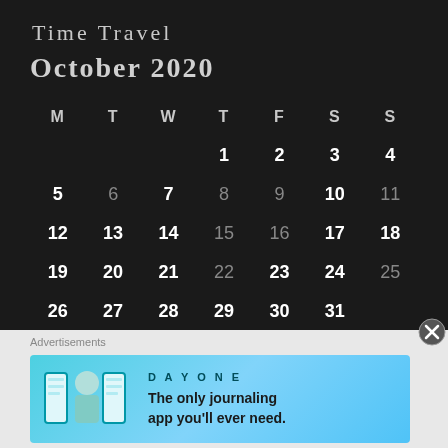Time Travel
OCTOBER 2020
| M | T | W | T | F | S | S |
| --- | --- | --- | --- | --- | --- | --- |
|  |  |  | 1 | 2 | 3 | 4 |
| 5 | 6 | 7 | 8 | 9 | 10 | 11 |
| 12 | 13 | 14 | 15 | 16 | 17 | 18 |
| 19 | 20 | 21 | 22 | 23 | 24 | 25 |
| 26 | 27 | 28 | 29 | 30 | 31 |  |
Advertisements
[Figure (infographic): Day One journaling app advertisement: blue banner with app icons and text 'The only journaling app you'll ever need.']